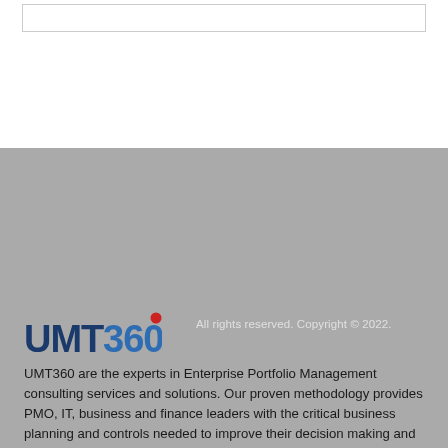[Figure (logo): UMT360 logo with blue text and red degree symbol]
All rights reserved. Copyright © 2022.
UMT360 are the experts in Enterprise Portfolio Management consulting services and solutions. Our proven methodology provides PMO, IT, business and finance leaders with the critical business planning and controls needed to improve their decision making and transform how they manage enterprise investments. Leveraging our industry leading expertise and technology along with Microsoft's PPM platform, we help organizations at every level of maturity gain the visibility, insight and enterprise perspective they need to align execution with strategy across all project, program, product, IT asset and capability portfolios. A multi-year winner of Microsoft's Partner